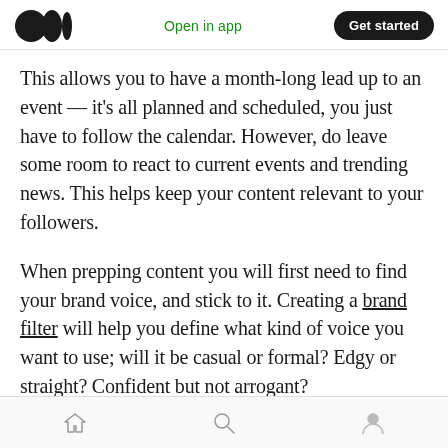Medium logo | Open in app | Get started
This allows you to have a month-long lead up to an event — it’s all planned and scheduled, you just have to follow the calendar. However, do leave some room to react to current events and trending news. This helps keep your content relevant to your followers.
When prepping content you will first need to find your brand voice, and stick to it. Creating a brand filter will help you define what kind of voice you want to use; will it be casual or formal? Edgy or straight? Confident but not arrogant?
Home | Search | Profile